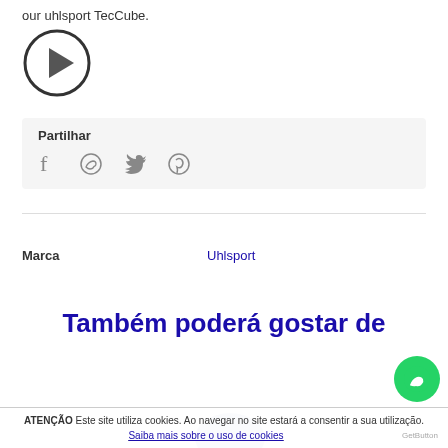our uhlsport TecCube.
[Figure (other): Play button icon (circle with triangle)]
Partilhar
[Figure (other): Social share icons: Facebook, WhatsApp, Twitter, Pinterest]
[Figure (other): Horizontal separator line]
Marca   Uhlsport
Também poderá gostar de
[Figure (photo): Partial product image visible at bottom]
[Figure (other): WhatsApp floating button]
ATENÇÃO Este site utiliza cookies. Ao navegar no site estará a consentir a sua utilização. Saiba mais sobre o uso de cookies